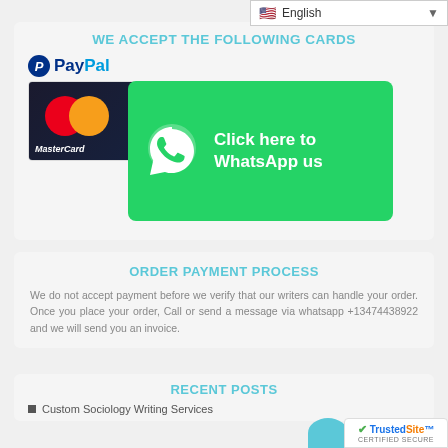English
WE ACCEPT THE FOLLOWING CARDS
[Figure (logo): PayPal logo, MasterCard logo, and WhatsApp 'Click here to WhatsApp us' button overlay]
ORDER PAYMENT PROCESS
We do not accept payment before we verify that our writers can handle your order. Once you place your order, Call or send a message via whatsapp +13474438922 and we will send you an invoice.
RECENT POSTS
Custom Sociology Writing Services
[Figure (logo): TrustedSite Certified Secure badge]